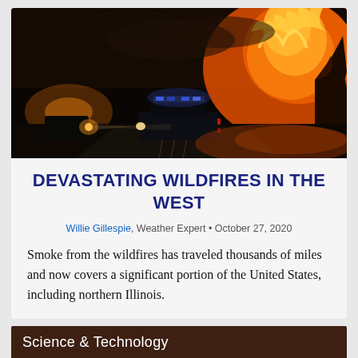[Figure (photo): Wildfire scene at night showing a police car on a road with massive orange and red flames and burning trees in the background, smoky dark sky]
DEVASTATING WILDFIRES IN THE WEST
Willie Gillespie, Weather Expert • October 27, 2020
Smoke from the wildfires has traveled thousands of miles and now covers a significant portion of the United States, including northern Illinois.
Science & Technology